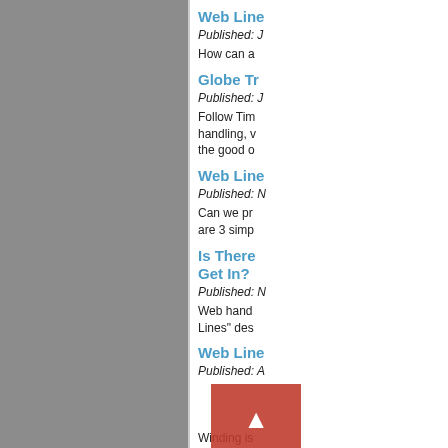[Figure (other): Gray panel on the left side of the page]
Web Line
Published: J
How can a
Globe Tr
Published: J
Follow Tim handling, v the good o
Web Line
Published: N
Can we pr are 3 simp
Is There Get In?
Published: N
Web hand Lines" des
Web Line
Published: A
Winding is